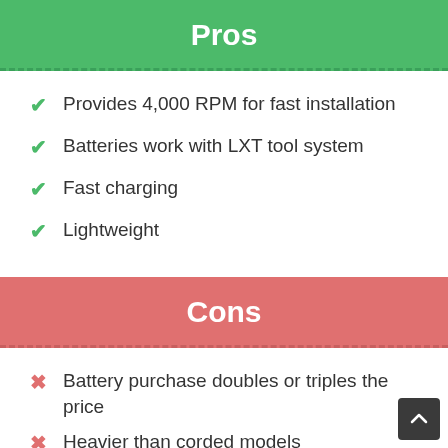Pros
Provides 4,000 RPM for fast installation
Batteries work with LXT tool system
Fast charging
Lightweight
Cons
Battery purchase doubles or triples the price
Heavier than corded models